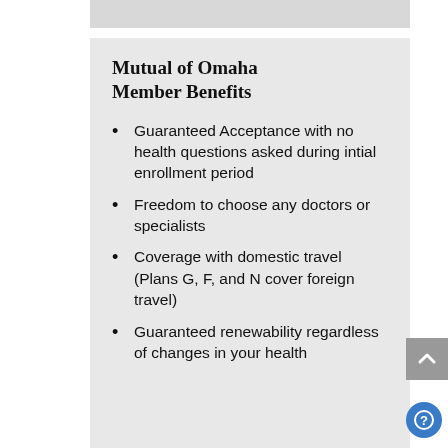Mutual of Omaha Member Benefits
Guaranteed Acceptance with no health questions asked during intial enrollment period
Freedom to choose any doctors or specialists
Coverage with domestic travel (Plans G, F, and N cover foreign travel)
Guaranteed renewability regardless of changes in your health